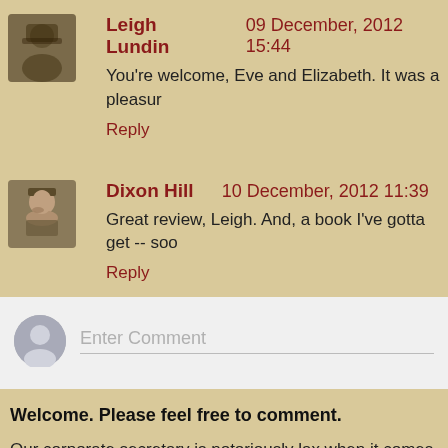Leigh Lundin   09 December, 2012 15:44
You're welcome, Eve and Elizabeth. It was a pleasur
Reply
Dixon Hill   10 December, 2012 11:39
Great review, Leigh. And, a book I've gotta get -- soo
Reply
[Figure (other): Comment input box with anonymous user avatar and placeholder text 'Enter Comment']
Welcome. Please feel free to comment.
Our corporate secretary is notoriously lax when it comes to may take Velma a few days to notice, usually after digging hose, a .38, her flask, or a cigarette.